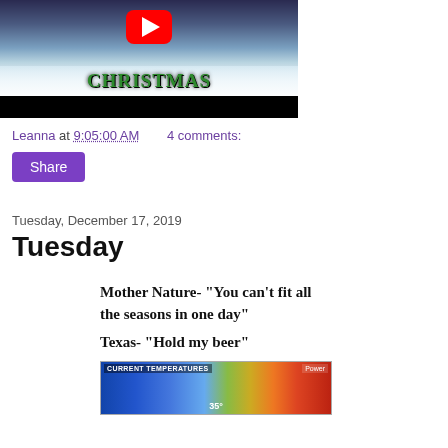[Figure (screenshot): YouTube video thumbnail showing a Christmas-themed image with 'CHRISTMAS' text in green and a YouTube play button, with a black bar at the bottom]
Leanna at 9:05:00 AM    4 comments:
Share
Tuesday, December 17, 2019
Tuesday
[Figure (infographic): Meme image with text: Mother Nature- "You can't fit all the seasons in one day" / Texas- "Hold my beer" followed by a weather map showing current temperatures]
[Figure (screenshot): Weather map showing current temperatures across a region with color gradient indicating temperature ranges]